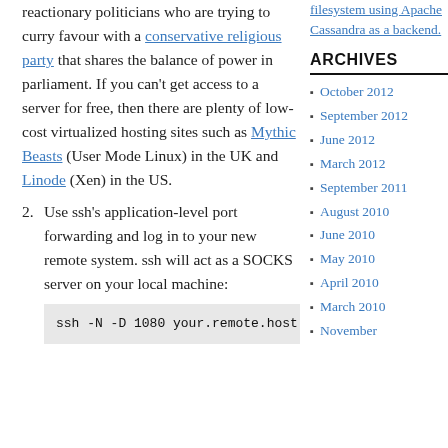reactionary politicians who are trying to curry favour with a conservative religious party that shares the balance of power in parliament. If you can't get access to a server for free, then there are plenty of low-cost virtualized hosting sites such as Mythic Beasts (User Mode Linux) in the UK and Linode (Xen) in the US.
filesystem using Apache Cassandra as a backend.
ARCHIVES
October 2012
September 2012
June 2012
March 2012
September 2011
August 2010
June 2010
May 2010
April 2010
March 2010
November
2. Use ssh's application-level port forwarding and log in to your new remote system. ssh will act as a SOCKS server on your local machine: